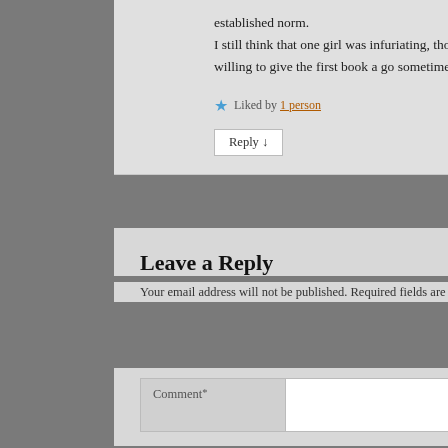established norm. I still think that one girl was infuriating, though. 🙂 But I love historical mysteries, so I'm still willing to give the first book a go sometime!
Liked by 1 person
Reply ↓
Leave a Reply
Your email address will not be published. Required fields are marked *
Comment *